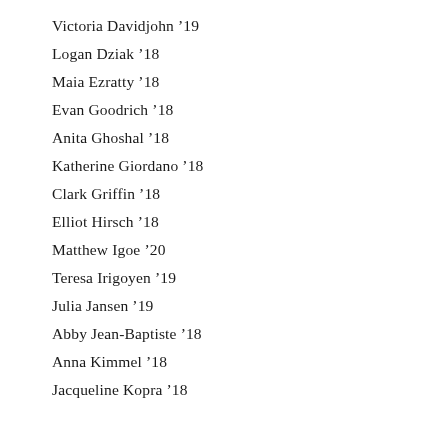Victoria Davidjohn '19
Logan Dziak '18
Maia Ezratty '18
Evan Goodrich '18
Anita Ghoshal '18
Katherine Giordano '18
Clark Griffin '18
Elliot Hirsch '18
Matthew Igoe '20
Teresa Irigoyen '19
Julia Jansen '19
Abby Jean-Baptiste '18
Anna Kimmel '18
Jacqueline Kopra '18